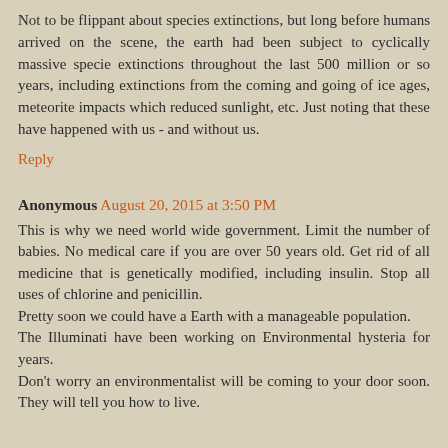Not to be flippant about species extinctions, but long before humans arrived on the scene, the earth had been subject to cyclically massive specie extinctions throughout the last 500 million or so years, including extinctions from the coming and going of ice ages, meteorite impacts which reduced sunlight, etc. Just noting that these have happened with us - and without us.
Reply
Anonymous August 20, 2015 at 3:50 PM
This is why we need world wide government. Limit the number of babies. No medical care if you are over 50 years old. Get rid of all medicine that is genetically modified, including insulin. Stop all uses of chlorine and penicillin. Pretty soon we could have a Earth with a manageable population.
The Illuminati have been working on Environmental hysteria for years.
Don't worry an environmentalist will be coming to your door soon. They will tell you how to live.